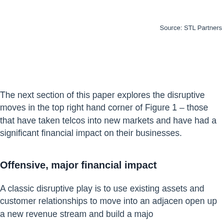Source: STL Partners
The next section of this paper explores the disruptive moves in the top right hand corner of Figure 1 – those that have taken telcos into new markets and have had a significant financial impact on their businesses.
Offensive, major financial impact
A classic disruptive play is to use existing assets and customer relationships to move into an adjacent open up a new revenue stream and build a majo